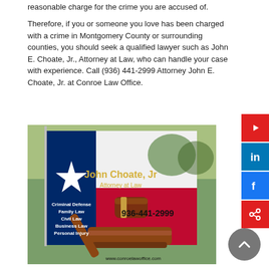reasonable charge for the crime you are accused of.
Therefore, if you or someone you love has been charged with a crime in Montgomery County or surrounding counties, you should seek a qualified lawyer such as John E. Choate, Jr., Attorney at Law, who can handle your case with experience. Call (936) 441-2999 Attorney John E. Choate, Jr. at Conroe Law Office.
[Figure (photo): Advertisement photo showing the Texas flag and a gavel for John Choate, Jr., Attorney at Law. Text on the image reads: 'John Choate, Jr', 'Attorney at Law', 'Criminal Defense', 'Family Law', 'Civil Law', 'Business Law', 'Personal Injury', '936-441-2999', 'www.conroelawoffice.com']